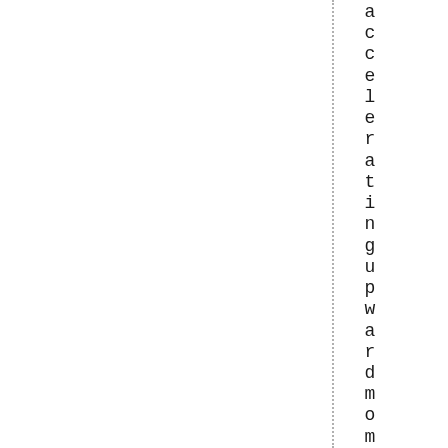acceleratingupwardmomentum.HYG